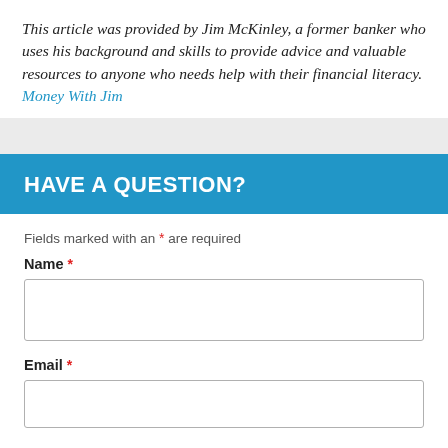This article was provided by Jim McKinley, a former banker who uses his background and skills to provide advice and valuable resources to anyone who needs help with their financial literacy. Money With Jim
HAVE A QUESTION?
Fields marked with an * are required
Name *
Email *